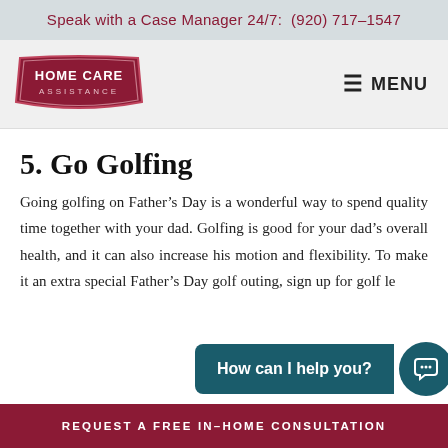Speak with a Case Manager 24/7:  (920) 717-1547
[Figure (logo): Home Care Assistance logo — dark red badge shape with text HOME CARE ASSISTANCE]
5. Go Golfing
Going golfing on Father's Day is a wonderful way to spend quality time together with your dad. Golfing is good for your dad's overall health, and it can also increase his motion and flexibility. To make it an extra special Father's Day golf outing, sign up for golf lessons with a golf pro fe
REQUEST A FREE IN-HOME CONSULTATION